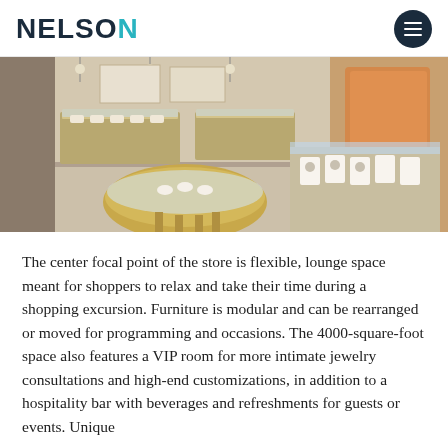NELSON
[Figure (photo): Interior of a luxury jewelry store showing glass display cases with jewelry and watches on white cushioned displays, gold-toned fixtures and cabinetry, marble-like flooring. A large oval central display case is prominent in the left foreground.]
The center focal point of the store is flexible, lounge space meant for shoppers to relax and take their time during a shopping excursion. Furniture is modular and can be rearranged or moved for programming and occasions. The 4000-square-foot space also features a VIP room for more intimate jewelry consultations and high-end customizations, in addition to a hospitality bar with beverages and refreshments for guests or events. Unique